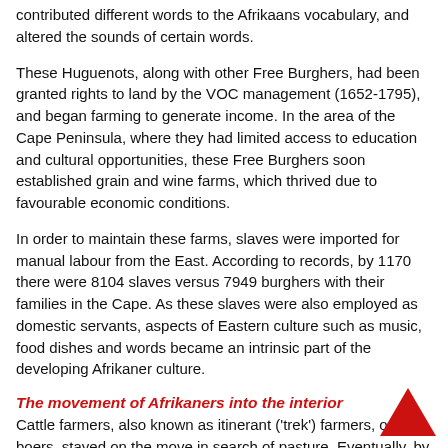contributed different words to the Afrikaans vocabulary, and altered the sounds of certain words.
These Huguenots, along with other Free Burghers, had been granted rights to land by the VOC management (1652-1795), and began farming to generate income. In the area of the Cape Peninsula, where they had limited access to education and cultural opportunities, these Free Burghers soon established grain and wine farms, which thrived due to favourable economic conditions.
In order to maintain these farms, slaves were imported for manual labour from the East. According to records, by 1170 there were 8104 slaves versus 7949 burghers with their families in the Cape. As these slaves were also employed as domestic servants, aspects of Eastern culture such as music, food dishes and words became an intrinsic part of the developing Afrikaner culture.
The movement of Afrikaners into the interior
Cattle farmers, also known as itinerant ('trek') farmers, or trek boers, stayed on the move in search of pasture. Eventually, by the end of the 18th century many of them lived in isolation, some as far as 1 000 km from Cape Town. As a result of their